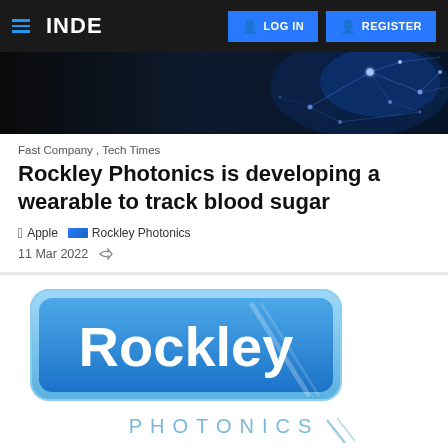INDE | LOG IN | REGISTER
[Figure (photo): Dark hero banner with blue network/connection visualization (glowing nodes and lines on dark background)]
Fast Company , Tech Times
Rockley Photonics is developing a wearable to track blood sugar
Apple  Rockley Photonics
11 Mar 2022
[Figure (logo): Rockley Photonics logo: blue rounded rectangle with white 'Rockley' text in large bold font and 'PHOTONICS' in spaced light-blue letters below]